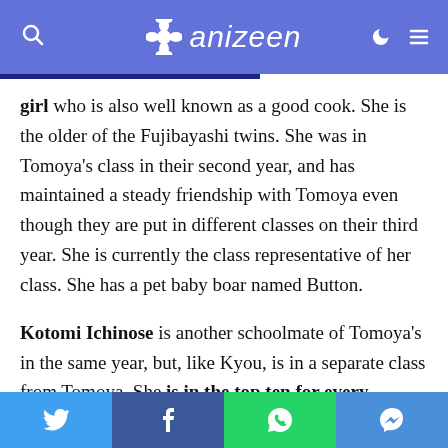anizeen
girl who is also well known as a good cook. She is the older of the Fujibayashi twins. She was in Tomoya's class in their second year, and has maintained a steady friendship with Tomoya even though they are put in different classes on their third year. She is currently the class representative of her class. She has a pet baby boar named Button.
Kotomi Ichinose is another schoolmate of Tomoya's in the same year, but, like Kyou, is in a separate class from Tomoya. She is in the top ten for every subject throughout the whole country in standardized exam
Twitter | Facebook | WhatsApp | Messenger